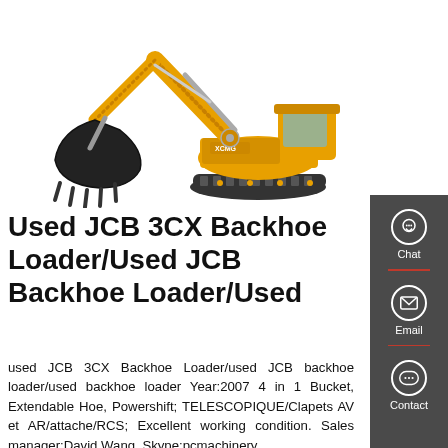[Figure (photo): XCMG branded yellow excavator/backhoe on white background, showing the arm, bucket, cab, and tracks.]
Used JCB 3CX Backhoe Loader/Used JCB Backhoe Loader/Used
used JCB 3CX Backhoe Loader/used JCB backhoe loader/used backhoe loader Year:2007 4 in 1 Bucket, Extendable Hoe, Powershift; TELESCOPIQUE/Clapets AV et AR/attache/RCS; Excellent working condition. Sales manager:David Wang Skype:pcmachinery